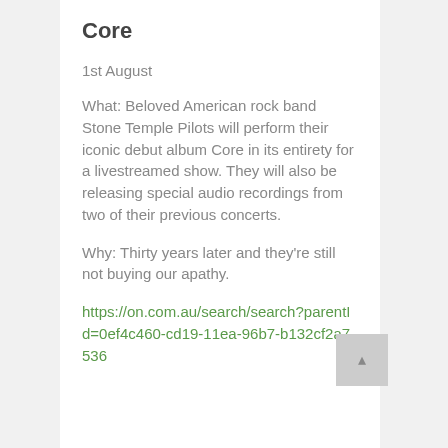Core
1st August
What: Beloved American rock band Stone Temple Pilots will perform their iconic debut album Core in its entirety for a livestreamed show. They will also be releasing special audio recordings from two of their previous concerts.
Why: Thirty years later and they're still not buying our apathy.
https://on.com.au/search/search?parentId=0ef4c460-cd19-11ea-96b7-b132cf2a7536